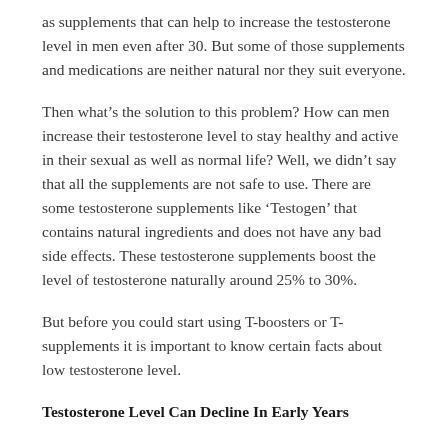as supplements that can help to increase the testosterone level in men even after 30. But some of those supplements and medications are neither natural nor they suit everyone.
Then what’s the solution to this problem? How can men increase their testosterone level to stay healthy and active in their sexual as well as normal life? Well, we didn’t say that all the supplements are not safe to use. There are some testosterone supplements like ‘Testogen’ that contains natural ingredients and does not have any bad side effects. These testosterone supplements boost the level of testosterone naturally around 25% to 30%.
But before you could start using T-boosters or T-supplements it is important to know certain facts about low testosterone level.
Testosterone Level Can Decline In Early Years